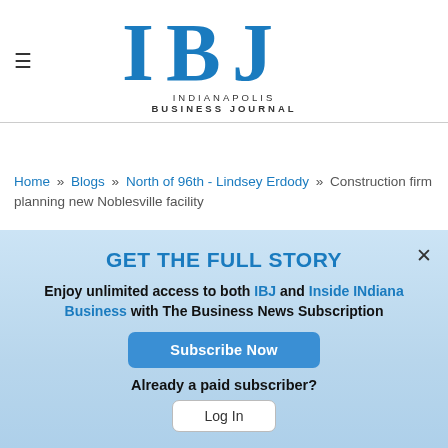[Figure (logo): IBJ Indianapolis Business Journal logo in blue]
Home » Blogs » North of 96th - Lindsey Erdody » Construction firm planning new Noblesville facility
GET THE FULL STORY
Enjoy unlimited access to both IBJ and Inside INdiana Business with The Business News Subscription
Subscribe Now
Already a paid subscriber?
Log In